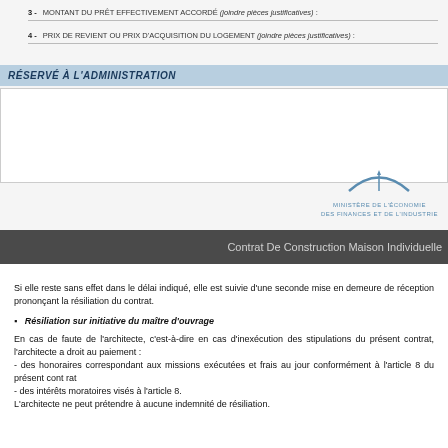3 - MONTANT DU PRÊT EFFECTIVEMENT ACCORDÉ (joindre pièces justificatives) :
4 - PRIX DE REVIENT OU PRIX D'ACQUISITION DU LOGEMENT (joindre pièces justificatives) :
RÉSERVÉ À L'ADMINISTRATION
[Figure (logo): Ministère de l'Économie des Finances et de l'Industrie logo with arc symbol]
Contrat De Construction Maison Individuelle
Si elle reste sans effet dans le délai indiqué, elle est suivie d'une seconde mise en demeure de réception prononçant la résiliation du contrat.
Résiliation sur initiative du maître d'ouvrage
En cas de faute de l'architecte, c'est-à-dire en cas d'inexécution des stipulations du présent contrat, l'architecte a droit au paiement :
- des honoraires correspondant aux missions exécutées et frais au jour conformément à l'article 8 du présent contrat
- des intérêts moratoires visés à l'article 8.
L'architecte ne peut prétendre à aucune indemnité de résiliation.